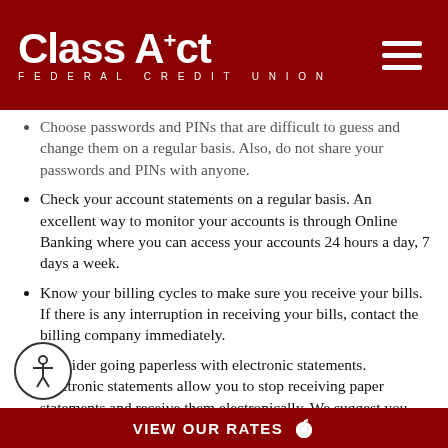Class Act Federal Credit Union
Choose passwords and PINs that are difficult to guess and change them on a regular basis. Also, do not share your passwords and PINs with anyone.
Check your account statements on a regular basis. An excellent way to monitor your accounts is through Online Banking where you can access your accounts 24 hours a day, 7 days a week.
Know your billing cycles to make sure you receive your bills. If there is any interruption in receiving your bills, contact the billing company immediately.
Consider going paperless with electronic statements. Electronic statements allow you to stop receiving paper statements and receive them electronically. We suggest you check with each company, though, to verify that its statements are sent to you through a secure system. Learn more and sign up for Statements through your account online.
Consider paying your bills electronically and skip sending your payments through the mail. As with electronic statements, we
VIEW OUR RATES